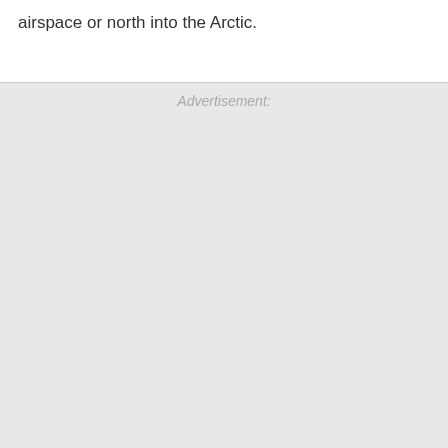airspace or north into the Arctic.
Advertisement: